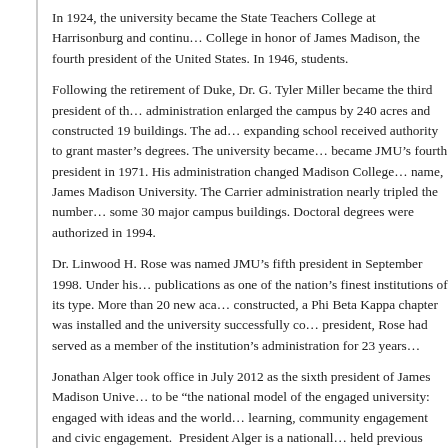In 1924, the university became the State Teachers College at Harrisonburg and continued... College in honor of James Madison, the fourth president of the United States. In 1946, students.
Following the retirement of Duke, Dr. G. Tyler Miller became the third president of the administration enlarged the campus by 240 acres and constructed 19 buildings. The ad expanding school received authority to grant master's degrees. The university became became JMU's fourth president in 1971. His administration changed Madison College name, James Madison University. The Carrier administration nearly tripled the number some 30 major campus buildings. Doctoral degrees were authorized in 1994.
Dr. Linwood H. Rose was named JMU's fifth president in September 1998. Under his publications as one of the nation's finest institutions of its type. More than 20 new aca constructed, a Phi Beta Kappa chapter was installed and the university successfully co president, Rose had served as a member of the institution's administration for 23 years
Jonathan Alger took office in July 2012 as the sixth president of James Madison Unive to be “the national model of the engaged university:  engaged with ideas and the world learning, community engagement and civic engagement.  President Alger is a nationall held previous positions at Rutgers University, the University of Michigan, the America Department of Education.
Administration
The general responsibility for the administration of the university has been assigned to Visitors. When the board is in recess, its executive committee may exercise the power